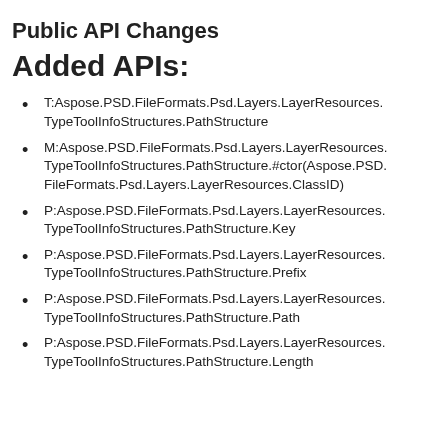Public API Changes
Added APIs:
T:Aspose.PSD.FileFormats.Psd.Layers.LayerResources.TypeToolInfoStructures.PathStructure
M:Aspose.PSD.FileFormats.Psd.Layers.LayerResources.TypeToolInfoStructures.PathStructure.#ctor(Aspose.PSD.FileFormats.Psd.Layers.LayerResources.ClassID)
P:Aspose.PSD.FileFormats.Psd.Layers.LayerResources.TypeToolInfoStructures.PathStructure.Key
P:Aspose.PSD.FileFormats.Psd.Layers.LayerResources.TypeToolInfoStructures.PathStructure.Prefix
P:Aspose.PSD.FileFormats.Psd.Layers.LayerResources.TypeToolInfoStructures.PathStructure.Path
P:Aspose.PSD.FileFormats.Psd.Layers.LayerResources.TypeToolInfoStructures.PathStructure.Length